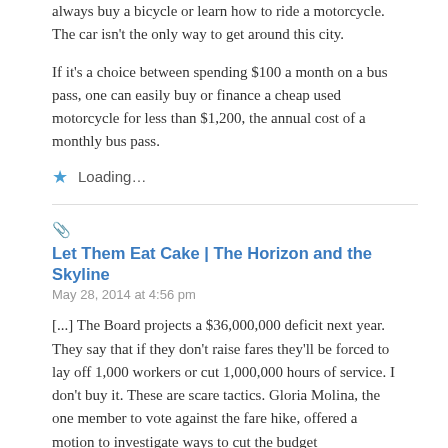always buy a bicycle or learn how to ride a motorcycle. The car isn't the only way to get around this city.
If it's a choice between spending $100 a month on a bus pass, one can easily buy or finance a cheap used motorcycle for less than $1,200, the annual cost of a monthly bus pass.
Loading...
Let Them Eat Cake | The Horizon and the Skyline
May 28, 2014 at 4:56 pm
[...] The Board projects a $36,000,000 deficit next year. They say that if they don't raise fares they'll be forced to lay off 1,000 workers or cut 1,000,000 hours of service. I don't buy it. These are scare tactics. Gloria Molina, the one member to vote against the fare hike, offered a motion to investigate ways to cut the budget